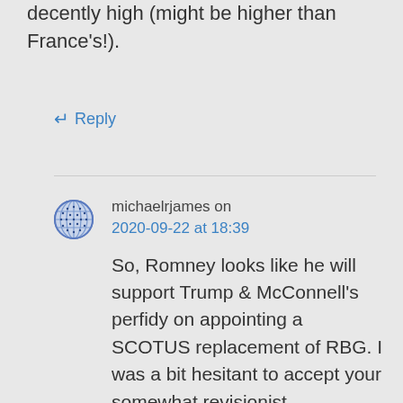decently high (might be higher than France's!).
↵ Reply
michaelrjames on 2020-09-22 at 18:39
So, Romney looks like he will support Trump & McConnell's perfidy on appointing a SCOTUS replacement of RBG. I was a bit hesitant to accept your somewhat revisionist